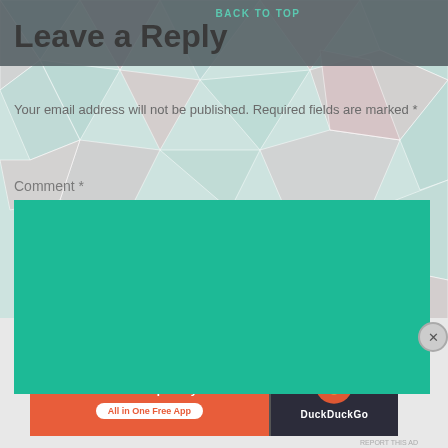Leave a Reply
BACK TO TOP
Your email address will not be published. Required fields are marked *
Comment *
[Figure (screenshot): Teal/green empty comment textarea input box]
Advertisements
[Figure (screenshot): DuckDuckGo advertisement banner: orange left side with text 'Search, browse, and email with more privacy. All in One Free App', dark right side with DuckDuckGo duck logo and brand name]